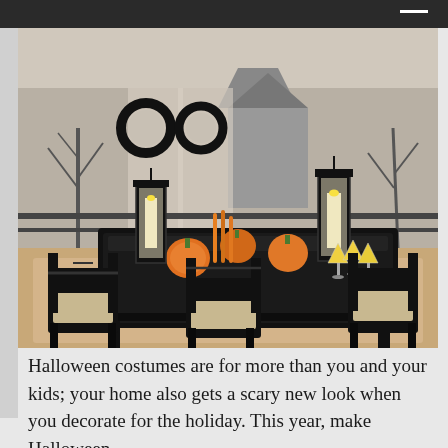[Figure (photo): A Halloween-decorated dining room with a black dining table and chairs. The table features pumpkins, tall black lanterns with candles, yellow cocktail glasses, and orange decorative elements. Dark spooky wreaths hang on the window in the background, and a spooky black-and-white wallpaper or mural of bare trees and a haunted house is visible.]
Halloween costumes are for more than you and your kids; your home also gets a scary new look when you decorate for the holiday. This year, make Halloween